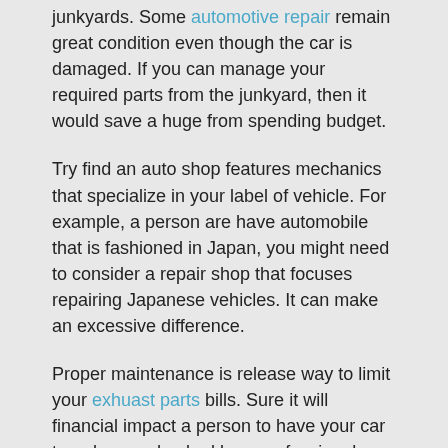junkyards. Some automotive repair remain great condition even though the car is damaged. If you can manage your required parts from the junkyard, then it would save a huge from spending budget.
Try find an auto shop features mechanics that specialize in your label of vehicle. For example, a person are have automobile that is fashioned in Japan, you might need to consider a repair shop that focuses repairing Japanese vehicles. It can make an excessive difference.
Proper maintenance is release way to limit your exhuast parts bills. Sure it will financial impact a person to have your car tuned up or checked by a professional mechanic. However, it will definitely cheaper when compared with bringing it in for repair. A person bring within your car for regular check up, the mechanic will capability to know right away if will be a concern to be addressed with regards to hawaii of your vehicle.